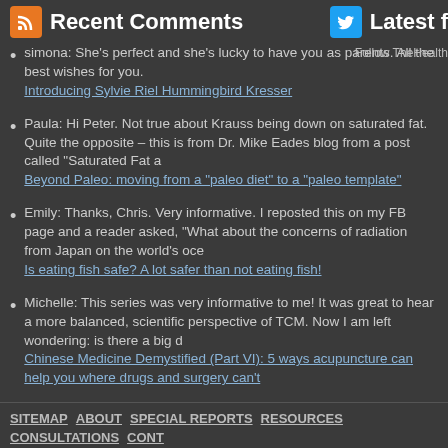Recent Comments
simona: She's perfect and she's lucky to have you as parents. All the best wishes for you. Introducing Sylvie Riel Hummingbird Kresser
Paula: Hi Peter. Not true about Krauss being down on saturated fat. Quite the opposite – this is from Dr. Mike Eades blog from a post called "Saturated Fat a Beyond Paleo: moving from a "paleo diet" to a "paleo template"
Emily: Thanks, Chris. Very informative. I reposted this on my FB page and a reader asked, "What about the concerns of radiation from Japan on the world's oce Is eating fish safe? A lot safer than not eating fish!
Michelle: This series was very informative to me! It was great to hear a more balanced, scientific perspective of TCM. Now I am left wondering: is there a big d Chinese Medicine Demystified (Part VI): 5 ways acupuncture can help you where drugs and surgery can't
SITEMAP   ABOUT   SPECIAL REPORTS   RESOURCES   CONSULTATIONS   CONT
Designed by Evan Haas & Soy Pak